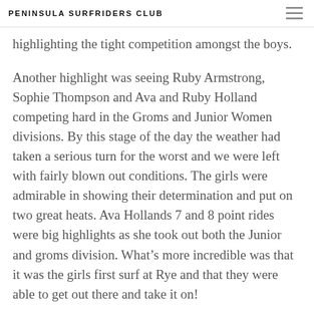PENINSULA SURFRIDERS CLUB
highlighting the tight competition amongst the boys.
Another highlight was seeing Ruby Armstrong, Sophie Thompson and Ava and Ruby Holland competing hard in the Groms and Junior Women divisions. By this stage of the day the weather had taken a serious turn for the worst and we were left with fairly blown out conditions. The girls were admirable in showing their determination and put on two great heats. Ava Hollands 7 and 8 point rides were big highlights as she took out both the Junior and groms division. What’s more incredible was that it was the girls first surf at Rye and that they were able to get out there and take it on!